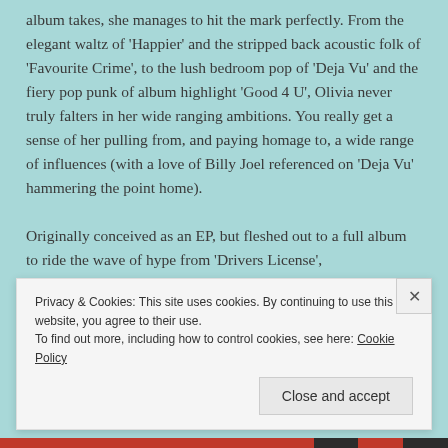album takes, she manages to hit the mark perfectly. From the elegant waltz of 'Happier' and the stripped back acoustic folk of 'Favourite Crime', to the lush bedroom pop of 'Deja Vu' and the fiery pop punk of album highlight 'Good 4 U', Olivia never truly falters in her wide ranging ambitions. You really get a sense of her pulling from, and paying homage to, a wide range of influences (with a love of Billy Joel referenced on 'Deja Vu' hammering the point home).
Originally conceived as an EP, but fleshed out to a full album to ride the wave of hype from 'Drivers License',
Privacy & Cookies: This site uses cookies. By continuing to use this website, you agree to their use.
To find out more, including how to control cookies, see here: Cookie Policy
[Close and accept]